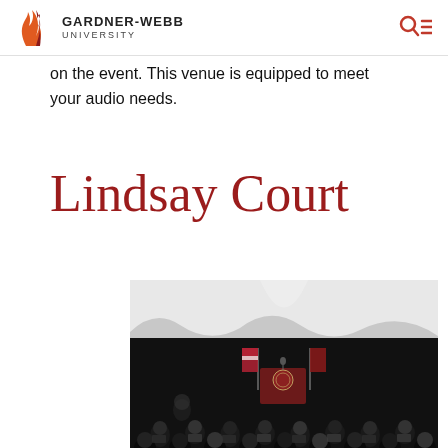GARDNER-WEBB UNIVERSITY
on the event. This venue is equipped to meet your audio needs.
Lindsay Court
[Figure (photo): An outdoor tent venue set up for a formal ceremony or graduation, with a podium bearing a university seal, flags, draping, and rows of seated attendees in graduation attire.]